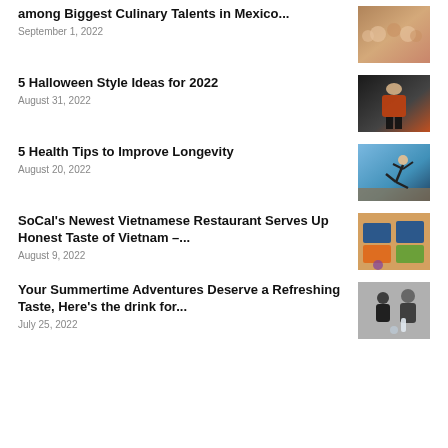among Biggest Culinary Talents in Mexico...
September 1, 2022
[Figure (photo): Group of people at a culinary event in Mexico]
5 Halloween Style Ideas for 2022
August 31, 2022
[Figure (photo): Person in Halloween fashion costume]
5 Health Tips to Improve Longevity
August 20, 2022
[Figure (photo): Person doing a yoga/acrobatic pose on a beach]
SoCal's Newest Vietnamese Restaurant Serves Up Honest Taste of Vietnam –...
August 9, 2022
[Figure (photo): Vietnamese food delivery boxes with meals]
Your Summertime Adventures Deserve a Refreshing Taste, Here's the drink for...
July 25, 2022
[Figure (photo): Two people posing with a drink product]